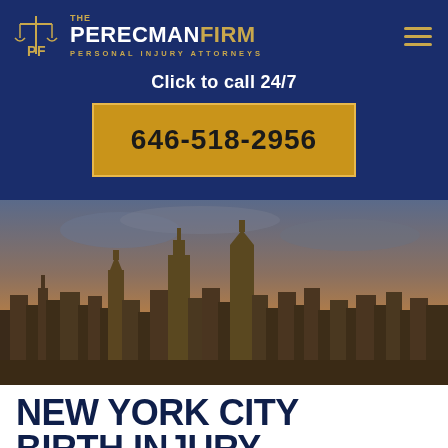[Figure (logo): The Perecman Firm PLLC logo with scales of justice icon, white and gold text on navy background]
Click to call 24/7
646-518-2956
[Figure (photo): New York City skyline panorama at dusk/sunset with warm orange sky]
NEW YORK CITY BIRTH INJURY